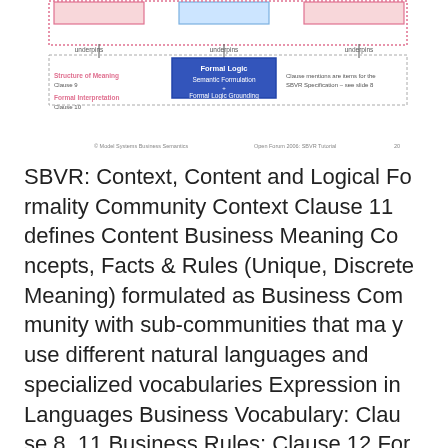[Figure (flowchart): SBVR diagram showing structure of meaning (Clause 9), Formal Interpretation (Clause 10), and Formal Logic with Semantic Formulation and Formal Logic Grounding. Arrows indicate underpins relationships. Bottom text: © Model Systems Business Semantics, Open Forum 2006: SBVR Tutorial, 20.]
SBVR: Context, Content and Logical Formality Community Context Clause 11 defines Content Business Meaning Concepts, Facts & Rules (Unique, Discrete Meaning) formulated as Business Community with sub-communities that may use different natural languages and specialized vocabularies Expression in Languages Business Vocabulary: Clause 8, 11 Business Rules: Clause 12 Forms of Meaning Forms of Concepts, Facts & Rules (different ways of saying the same thing) underpins uses expressed as Business Expression of Forms of Concepts, Facts & Rules in a Business Language underpins Formal Logic Structure of Meaning Clause 9 Formal Interpretation Clause 10 © Model System